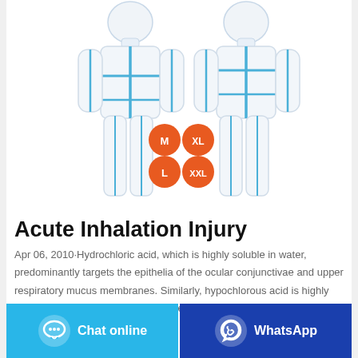[Figure (illustration): Two white protective coverall suits with blue seam lines shown from front and back view, with four orange size badges showing M, XL, L, XXL]
Acute Inhalation Injury
Apr 06, 2010·Hydrochloric acid, which is highly soluble in water, predominantly targets the epithelia of the ocular conjunctivae and upper respiratory mucus membranes. Similarly, hypochlorous acid is highly water soluble and has an injury pattern similar to hydrochloric acid, which
Chat online | WhatsApp